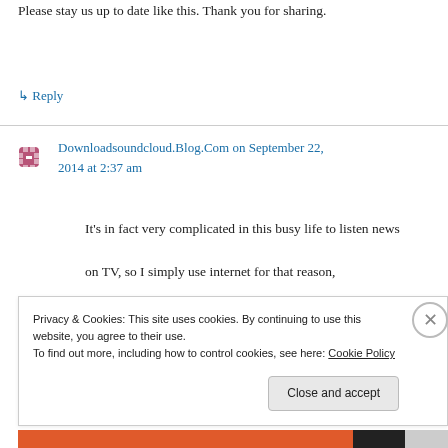Please stay us up to date like this. Thank you for sharing.
↳ Reply
Downloadsoundcloud.Blog.Com on September 22, 2014 at 2:37 am
It's in fact very complicated in this busy life to listen news on TV, so I simply use internet for that reason,
Privacy & Cookies: This site uses cookies. By continuing to use this website, you agree to their use.
To find out more, including how to control cookies, see here: Cookie Policy
Close and accept